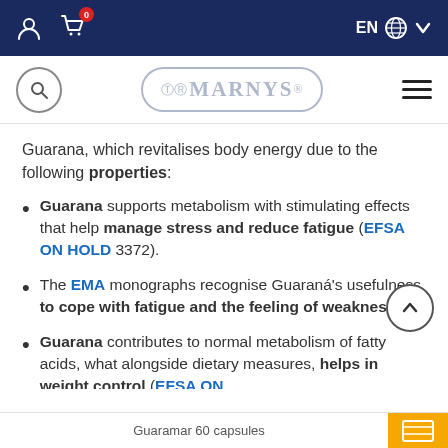[Figure (screenshot): Website navigation bar with user icon, cart icon with badge '0', and EN/globe/chevron on right, dark navy background]
[Figure (logo): Marnys logo in rounded rectangle with search icon and hamburger menu]
Guarana, which revitalises body energy due to the following properties:
Guarana supports metabolism with stimulating effects that help manage stress and reduce fatigue (EFSA ON HOLD 3372).
The EMA monographs recognise Guaraná's usefulness to cope with fatigue and the feeling of weakness.
Guarana contributes to normal metabolism of fatty acids, what alongside dietary measures, helps in weight control (EFSA ON
Guaramar 60 capsules